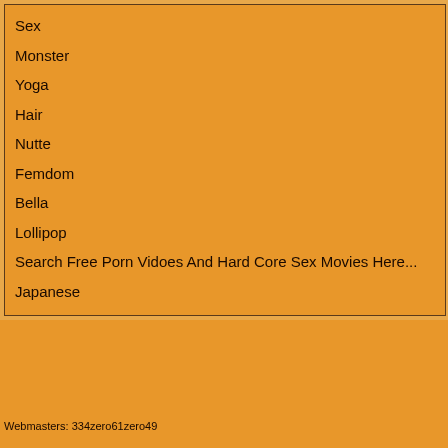Sex
Monster
Yoga
Hair
Nutte
Femdom
Bella
Lollipop
Search Free Porn Vidoes And Hard Core Sex Movies Here...
Japanese
[Figure (logo): HST6 logo with film reel icon and www.hst6.net text]
Webmasters: 334zero61zero49